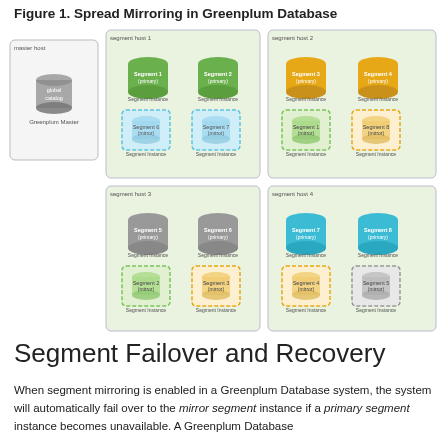Figure 1. Spread Mirroring in Greenplum Database
[Figure (engineering-diagram): Diagram showing spread mirroring in Greenplum Database with one master host and four segment hosts. Master host contains global catalog and Greenplum Master. Segment host 1 has Segment 1 (primary), Segment 2 (primary), Segment 6 (mirror), Segment 7 (mirror). Segment host 2 has Segment 3 (primary), Segment 4 (primary), Segment 1 (mirror), Segment 8 (mirror). Segment host 3 has Segment 5 (primary), Segment 6 (primary), Segment 2 (mirror), Segment 3 (mirror). Segment host 4 has Segment 7 (primary), Segment 8 (primary), Segment 4 (mirror), Segment 5 (mirror).]
Segment Failover and Recovery
When segment mirroring is enabled in a Greenplum Database system, the system will automatically fail over to the mirror segment instance if a primary segment instance becomes unavailable. A Greenplum Database